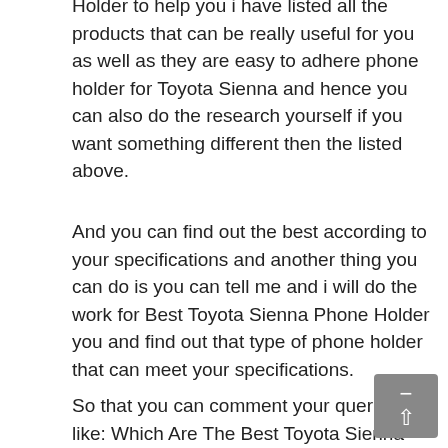Holder to help you i have listed all the products that can be really useful for you as well as they are easy to adhere phone holder for Toyota Sienna and hence you can also do the research yourself if you want something different then the listed above.
And you can find out the best according to your specifications and another thing you can do is you can tell me and i will do the work for Best Toyota Sienna Phone Holder you and find out that type of phone holder that can meet your specifications.
So that you can comment your queries like: Which Are The Best Toyota Sienna Phone Holder for a particular model of Toyota Sienna